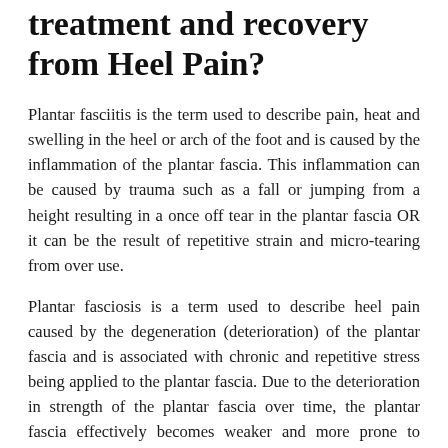treatment and recovery from Heel Pain?
Plantar fasciitis is the term used to describe pain, heat and swelling in the heel or arch of the foot and is caused by the inflammation of the plantar fascia. This inflammation can be caused by trauma such as a fall or jumping from a height resulting in a once off tear in the plantar fascia OR it can be the result of repetitive strain and micro-tearing from over use.
Plantar fasciosis is a term used to describe heel pain caused by the degeneration (deterioration) of the plantar fascia and is associated with chronic and repetitive stress being applied to the plantar fascia. Due to the deterioration in strength of the plantar fascia over time, the plantar fascia effectively becomes weaker and more prone to becoming re-inflammed (plantar fasciitis). This